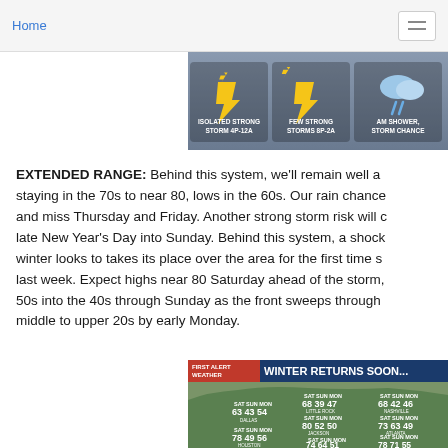Home
[Figure (screenshot): Weather forecast banner showing storm icons: ISOLATED STRONG STORM 4P-12A, FEW STRONG STORMS 8P-2A, AM SHOWER STORM CHANCE]
EXTENDED RANGE: Behind this system, we'll remain well above normal staying in the 70s to near 80, lows in the 60s. Our rain chances hit and miss Thursday and Friday. Another strong storm risk will come late New Year's Day into Sunday. Behind this system, a shock of winter looks to takes its place over the area for the first time since last week. Expect highs near 80 Saturday ahead of the storm, falling to the 50s into the 40s through Sunday as the front sweeps through, lows in the middle to upper 20s by early Monday.
[Figure (screenshot): First Alert Weather map showing WINTER RETURNS SOON... with city temperature forecasts for SAT/SUN/MON. Dallas: 63/43/54, Houston: 78/49/56, Little Rock: 68/39/47, Jackson: 80/52/50, Vobile: 74/64/51, Nashville: 68/42/46, Atlanta: 73/63/49, Tallahassee: 78/71/55]